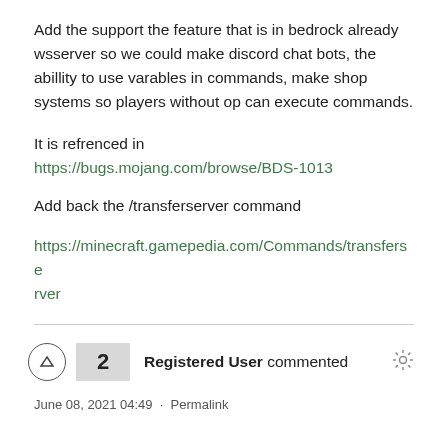Add the support the feature that is in bedrock already wsserver so we could make discord chat bots, the abillity to use varables in commands, make shop systems so players without op can execute commands.
It is refrenced in
https://bugs.mojang.com/browse/BDS-1013
Add back the /transferserver command
https://minecraft.gamepedia.com/Commands/transferserver
2  Registered User commented
June 08, 2021 04:49  ·  Permalink